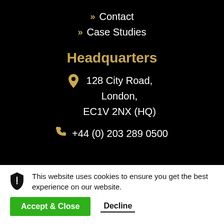» Contact
» Case Studies
Headquarters
128 City Road, London, EC1V 2NX (HQ)
+44 (0) 203 289 0500
This website uses cookies to ensure you get the best experience on our website.
Accept & Close
Decline